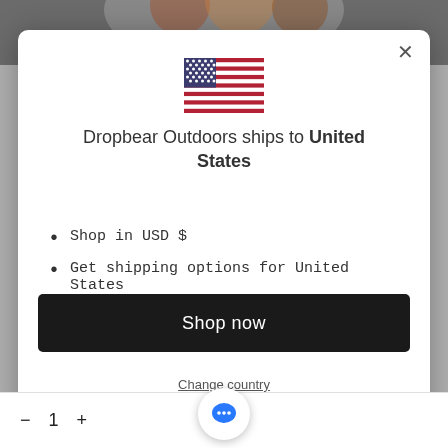[Figure (screenshot): Modal dialog on a website for Dropbear Outdoors showing USA flag, shipping message, bullet points, and Shop now button]
Dropbear Outdoors ships to United States
Shop in USD $
Get shipping options for United States
Shop now
Change country